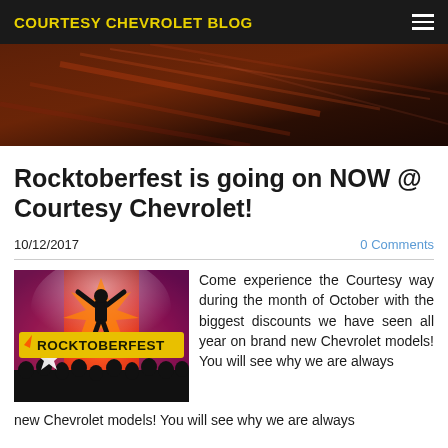COURTESY CHEVROLET BLOG
[Figure (photo): Dark reddish-brown hero banner image with light streaks, used as a decorative header background]
Rocktoberfest is going on NOW @ Courtesy Chevrolet!
10/12/2017
0 Comments
[Figure (photo): Rocktoberfest promotional image with a silhouette of a person with arms raised, crowd silhouettes below, colorful concert lighting, and a large yellow 'ROCKTOBERFEST' text with a star on a red/orange burst background]
Come experience the Courtesy way during the month of October with the biggest discounts we have seen all year on brand new Chevrolet models! You will see why we are always
new Chevrolet models! You will see why we are always